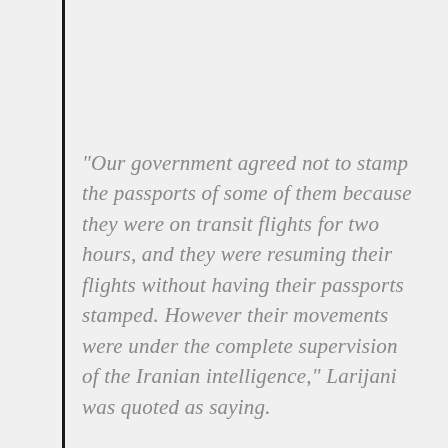“Our government agreed not to stamp the passports of some of them because they were on transit flights for two hours, and they were resuming their flights without having their passports stamped. However their movements were under the complete supervision of the Iranian intelligence,” Larijani was quoted as saying.